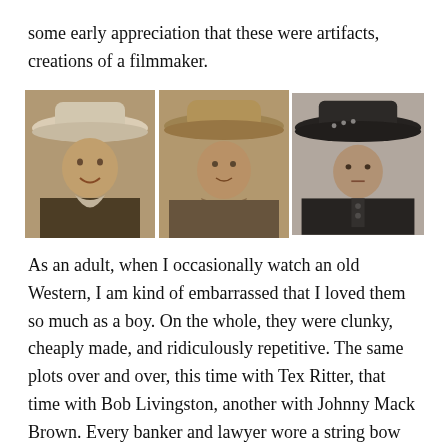some early appreciation that these were artifacts, creations of a filmmaker.
[Figure (photo): Three sepia-toned portrait photos of classic Western movie cowboys wearing cowboy hats, side by side.]
As an adult, when I occasionally watch an old Western, I am kind of embarrassed that I loved them so much as a boy. On the whole, they were clunky, cheaply made, and ridiculously repetitive. The same plots over and over, this time with Tex Ritter, that time with Bob Livingston, another with Johnny Mack Brown. Every banker and lawyer wore a string bow tie — that's how we knew who the villain was.